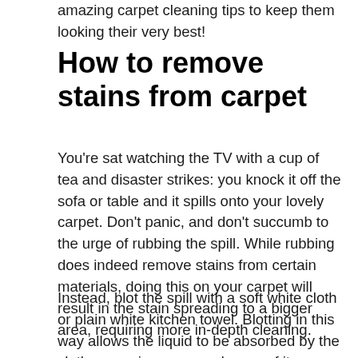amazing carpet cleaning tips to keep them looking their very best!
How to remove stains from carpet
You're sat watching the TV with a cup of tea and disaster strikes: you knock it off the sofa or table and it spills onto your lovely carpet. Don't panic, and don't succumb to the urge of rubbing the spill. While rubbing does indeed remove stains from certain materials, doing this on your carpet will result in the stain spreading to a bigger area, requiring more in-depth cleaning.
Instead, blot the spill with a soft white cloth or plain white kitchen towel. Blotting in this way allows the liquid to be absorbed by the cloth, removing more and more of it as